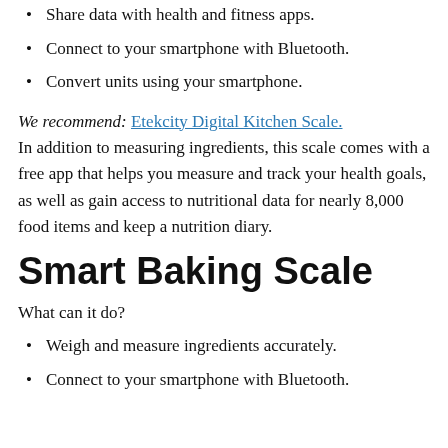Share data with health and fitness apps.
Connect to your smartphone with Bluetooth.
Convert units using your smartphone.
We recommend: Etekcity Digital Kitchen Scale. In addition to measuring ingredients, this scale comes with a free app that helps you measure and track your health goals, as well as gain access to nutritional data for nearly 8,000 food items and keep a nutrition diary.
Smart Baking Scale
What can it do?
Weigh and measure ingredients accurately.
Connect to your smartphone with Bluetooth.